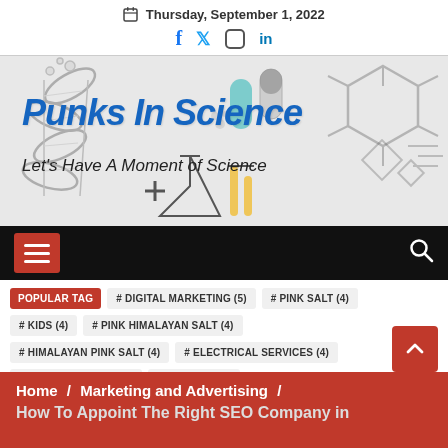Thursday, September 1, 2022
[Figure (illustration): Punks In Science website banner with DNA helix, capsules, molecular structures, and lab equipment illustrations. Title: Punks In Science. Subtitle: Let's Have A Moment of Science]
[Figure (screenshot): Black navigation bar with red hamburger menu button and white search icon]
POPULAR TAG  # DIGITAL MARKETING (5)  # PINK SALT (4)  # KIDS (4)  # PINK HIMALAYAN SALT (4)  # HIMALAYAN PINK SALT (4)  # ELECTRICAL SERVICES (4)  # HIMALAYAN SALT (4)  # HEMP OIL (3)
Home / Marketing and Advertising / How To Appoint The Right SEO Company in